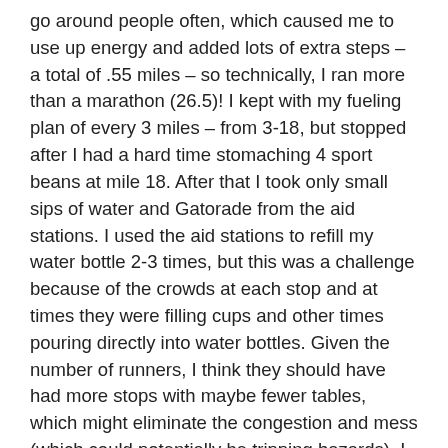go around people often, which caused me to use up energy and added lots of extra steps – a total of .55 miles – so technically, I ran more than a marathon (26.5)! I kept with my fueling plan of every 3 miles – from 3-18, but stopped after I had a hard time stomaching 4 sport beans at mile 18. After that I took only small sips of water and Gatorade from the aid stations. I used the aid stations to refill my water bottle 2-3 times, but this was a challenge because of the crowds at each stop and at times they were filling cups and other times pouring directly into water bottles. Given the number of runners, I think they should have had more stops with maybe fewer tables, which might eliminate the congestion and mess (which could potentially be tripping hazards). I did not partake in the first aid station which was oranges, but loved the smell. I did not like the fact that there were orange peels all over the road, which I could have slipped on. I was extra careful in this section. I did grab 2 citrus gels